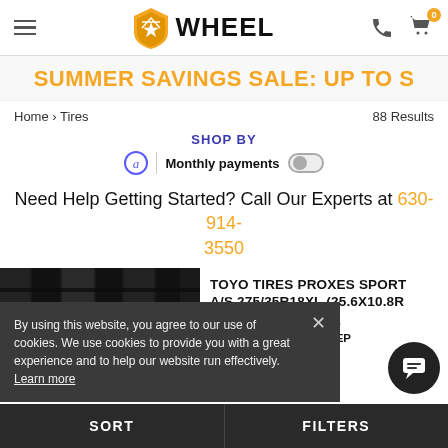WHEEL (logo with hamburger menu, phone icon, cart with 0 badge)
SUMMER SAVINGS SALE: UP TO S
Home › Tires    88 Results
SHOP BY
Monthly payments (toggle off)
Need Help Getting Started? Call Our Experts at 630-914-3550
[Figure (photo): Toyo tires product image showing tire tread close-up on dark background]
TOYO TIRES PROXES SPORT A/S 275/35R18XL (25.6X10.8R
4 Reviews
QUICK DELIVERY: MON, SEP
ALL SEASON
By using this website, you agree to our use of cookies. We use cookies to provide you with a great experience and to help our website run effectively. Learn more
SORT    FILTERS